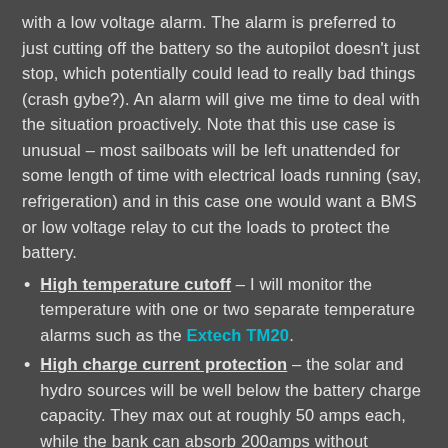with a low voltage alarm. The alarm is preferred to just cutting off the battery so the autopilot doesn't just stop, which potentially could lead to really bad things (crash gybe?). An alarm will give me time to deal with the situation proactively. Note that this use case is unusual – most sailboats will be left unattended for some length of time with electrical loads running (say, refrigeration) and in this case one would want a BMS or low voltage relay to cut the loads to protect the battery.
High temperature cutoff – I will monitor the temperature with one or two separate temperature alarms such as the Extech TM20.
High charge current protection – the solar and hydro sources will be well below the battery charge capacity. They max out at roughly 50 amps each, while the bank can absorb 200amps without difficulty. Alternative charging sources will be below